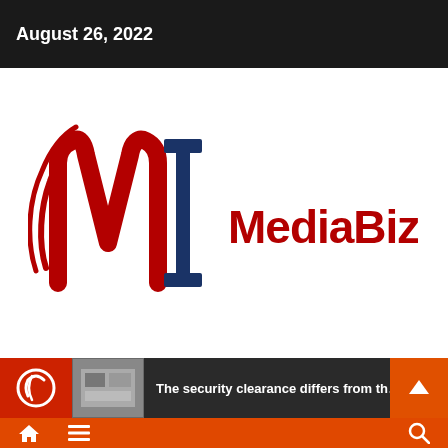August 26, 2022
[Figure (logo): MediaBizNet logo with stylized red and navy M-I lettermark and red text 'MediaBizNet']
The security clearance differs from th...d
Home | Menu | Search navigation bar